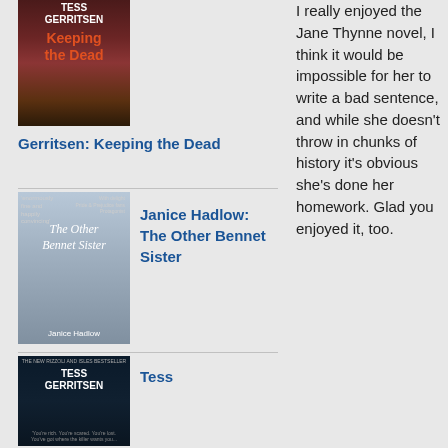[Figure (photo): Book cover of Tess Gerritsen's Keeping the Dead]
Gerritsen: Keeping the Dead
[Figure (photo): Book cover of Janice Hadlow's The Other Bennet Sister]
Janice Hadlow: The Other Bennet Sister
[Figure (photo): Book cover of Tess Gerritsen]
Tess
I really enjoyed the Jane Thynne novel, I think it would be impossible for her to write a bad sentence, and while she doesn't throw in chunks of history it's obvious she's done her homework. Glad you enjoyed it, too.